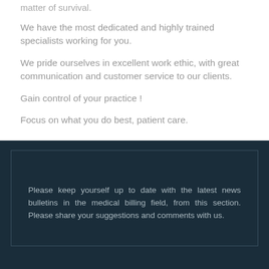matter of survival.
We have the most dedicated and highly trained specialists working for you.
We pride ourselves in excellent work ethic, with great communication and customer service to our clients.
Gain control of your practice !
Focus on what you do best, patient care.
Please keep yourself up to date with the latest news bulletins in the medical billing field, from this section. Please share your suggestions and comments with us.